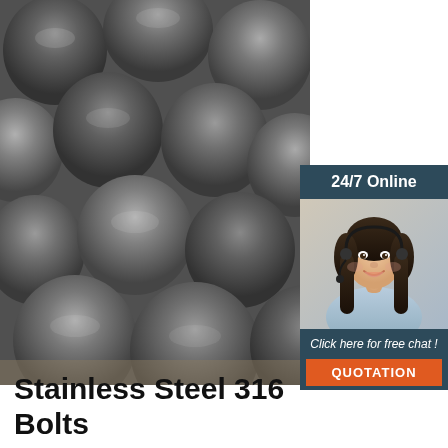[Figure (photo): Close-up photo of multiple stainless steel round rods/bars stacked together, showing circular cross-sections and metallic grey surface texture]
[Figure (photo): Sidebar with '24/7 Online' header in dark blue-grey background, photo of female customer service representative with headset smiling, 'Click here for free chat!' text, and orange QUOTATION button]
Stainless Steel 316 Bolts Nuts
2021-8-27u2002·u2002oldest ASTM A193 S31600 Hex Bolts Manufacturer, Wide size range in EN 1.4401 Studs, find updated SS 316 nut bolt price list . SS 316 Bolts And Nuts are made up of a nickel chromium molybdenum alloy austenitic stainless steel material that has good strength and excellent corrosion resistant properties.